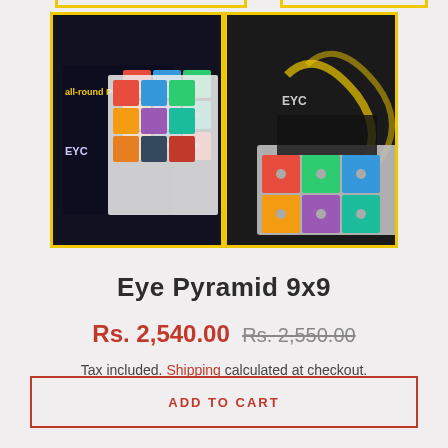[Figure (photo): Two product images of Eye Pyramid 9x9 with yellow border frames - left shows back of product box with colorful grid, right shows front of box with display tray]
Eye Pyramid 9x9
Rs. 2,540.00  Rs. 2,550.00
Tax included. Shipping calculated at checkout.
ADD TO CART